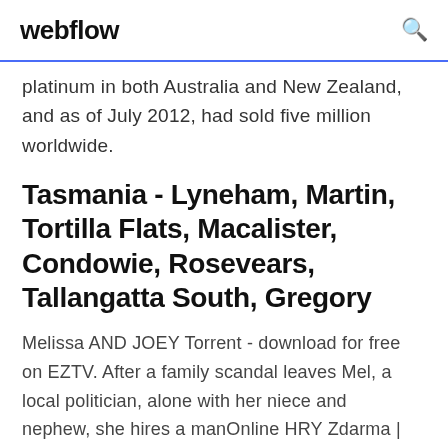webflow
platinum in both Australia and New Zealand, and as of July 2012, had sold five million worldwide.
Tasmania - Lyneham, Martin, Tortilla Flats, Macalister, Condowie, Rosevears, Tallangatta South, Gregory
Melissa AND JOEY Torrent - download for free on EZTV. After a family scandal leaves Mel, a local politician, alone with her niece and nephew, she hires a manOnline HRY Zdarma | on-line-hry.czon-line-hry.cz/guestbook.htmlOnline hry zdarma vám